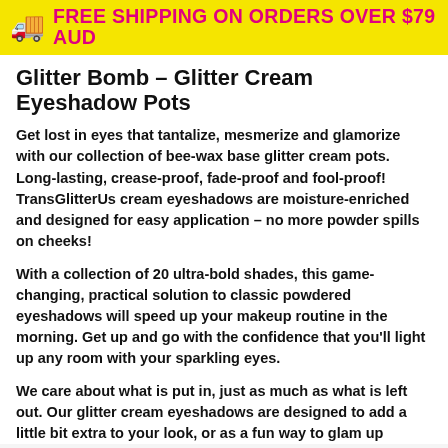FREE SHIPPING ON ORDERS OVER $79 AUD
Glitter Bomb – Glitter Cream Eyeshadow Pots
Get lost in eyes that tantalize, mesmerize and glamorize with our collection of bee-wax base glitter cream pots. Long-lasting, crease-proof, fade-proof and fool-proof! TransGlitterUs cream eyeshadows are moisture-enriched and designed for easy application – no more powder spills on cheeks!
With a collection of 20 ultra-bold shades, this game-changing, practical solution to classic powdered eyeshadows will speed up your makeup routine in the morning. Get up and go with the confidence that you'll light up any room with your sparkling eyes.
We care about what is put in, just as much as what is left out. Our glitter cream eyeshadows are designed to add a little bit extra to your look, or as a fun way to glam up